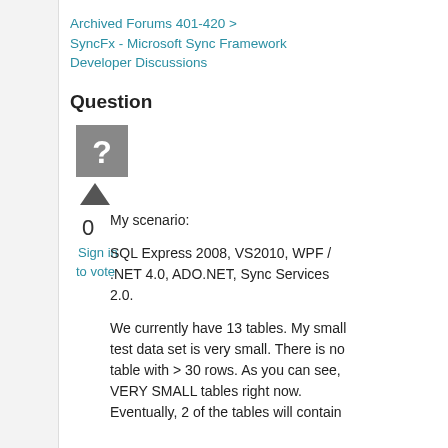Archived Forums 401-420 > SyncFx - Microsoft Sync Framework Developer Discussions
Question
[Figure (other): Grey square avatar with white question mark icon]
0
Sign in to vote
My scenario:
SQL Express 2008, VS2010, WPF / .NET 4.0, ADO.NET, Sync Services 2.0.
We currently have 13 tables. My small test data set is very small. There is no table with > 30 rows. As you can see, VERY SMALL tables right now. Eventually, 2 of the tables will contain